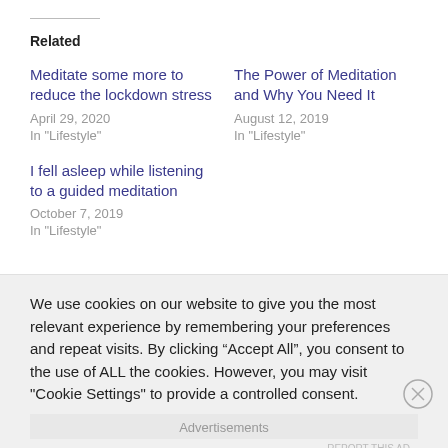Related
Meditate some more to reduce the lockdown stress
April 29, 2020
In "Lifestyle"
The Power of Meditation and Why You Need It
August 12, 2019
In "Lifestyle"
I fell asleep while listening to a guided meditation
October 7, 2019
In "Lifestyle"
We use cookies on our website to give you the most relevant experience by remembering your preferences and repeat visits. By clicking “Accept All”, you consent to the use of ALL the cookies. However, you may visit "Cookie Settings" to provide a controlled consent.
Advertisements
REPORT THIS AD